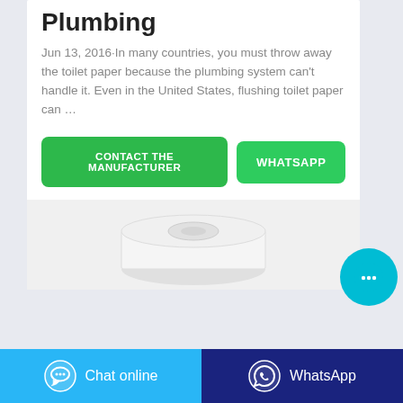Plumbing
Jun 13, 2016·In many countries, you must throw away the toilet paper because the plumbing system can't handle it. Even in the United States, flushing toilet paper can …
[Figure (other): Green button: CONTACT THE MANUFACTURER]
[Figure (other): Green button: WHATSAPP]
[Figure (photo): Toilet paper roll on light grey background]
[Figure (other): Cyan chat FAB button with ellipsis icon]
Chat online   WhatsApp